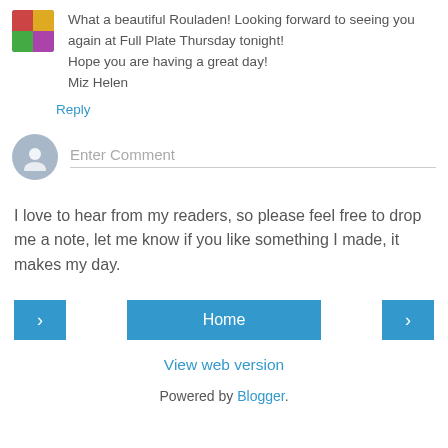What a beautiful Rouladen! Looking forward to seeing you again at Full Plate Thursday tonight!
Hope you are having a great day!
Miz Helen
Reply
[Figure (other): Enter Comment input field with user avatar icon]
I love to hear from my readers, so please feel free to drop me a note, let me know if you like something I made, it makes my day.
< | Home | >
View web version
Powered by Blogger.